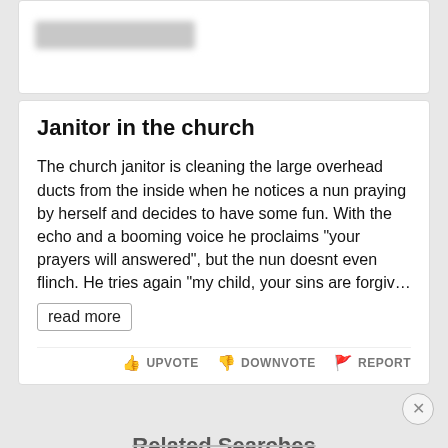Janitor in the church
The church janitor is cleaning the large overhead ducts from the inside when he notices a nun praying by herself and decides to have some fun. With the echo and a booming voice he proclaims "your prayers will answered", but the nun doesnt even flinch. He tries again "my child, your sins are forgiv…
read more
UPVOTE  DOWNVOTE  REPORT
Related Searches
[Figure (screenshot): Disney Bundle advertisement banner showing Hulu, Disney+, ESPN+ logos with 'GET THE DISNEY BUNDLE' call to action button. Fine print: Incl. Hulu (ad-supported) or Hulu (No Ads). Access content from each service separately. ©2021 Disney and its related entities]